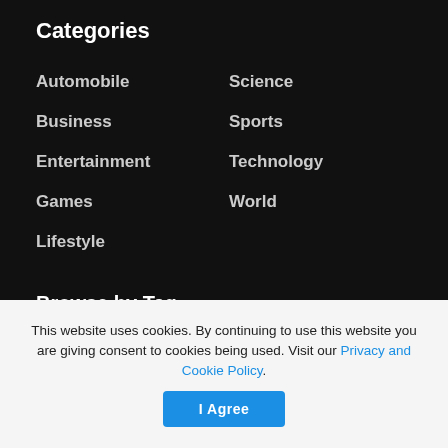Categories
Automobile
Science
Business
Sports
Entertainment
Technology
Games
World
Lifestyle
Browse by Tag
announced
August
Chivas
coming
date
Day
details
Dragon
euros
free
game
Games
International football
July
Liga MX
Live
Marvel
This website uses cookies. By continuing to use this website you are giving consent to cookies being used. Visit our Privacy and Cookie Policy.